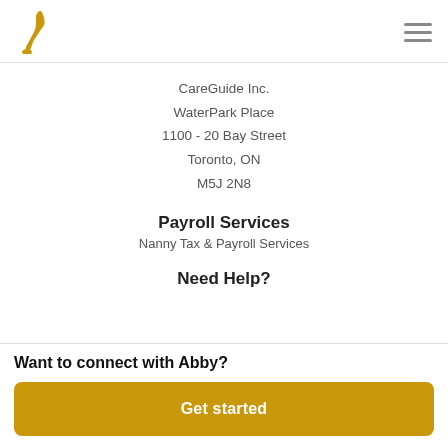CareGuide logo and hamburger menu
CareGuide Inc.
WaterPark Place
1100 - 20 Bay Street
Toronto, ON
M5J 2N8
Payroll Services
Nanny Tax & Payroll Services
Need Help?
Want to connect with Abby?
Get started